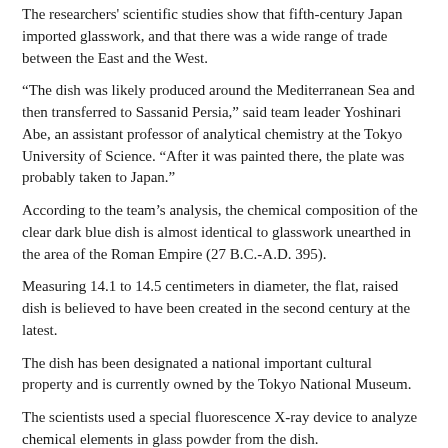The researchers' scientific studies show that fifth-century Japan imported glasswork, and that there was a wide range of trade between the East and the West.
“The dish was likely produced around the Mediterranean Sea and then transferred to Sassanid Persia,” said team leader Yoshinari Abe, an assistant professor of analytical chemistry at the Tokyo University of Science. “After it was painted there, the plate was probably taken to Japan.”
According to the team’s analysis, the chemical composition of the clear dark blue dish is almost identical to glasswork unearthed in the area of the Roman Empire (27 B.C.-A.D. 395).
Measuring 14.1 to 14.5 centimeters in diameter, the flat, raised dish is believed to have been created in the second century at the latest.
The dish has been designated a national important cultural property and is currently owned by the Tokyo National Museum.
The scientists used a special fluorescence X-ray device to analyze chemical elements in glass powder from the dish.
The chemical compositions of natron, a type of sodium mineral, as well as sand made of silica and lime, resemble those typically found in Mediterranean glasswork produced in the Roman Empire and the following Eastern Roman Empire period.